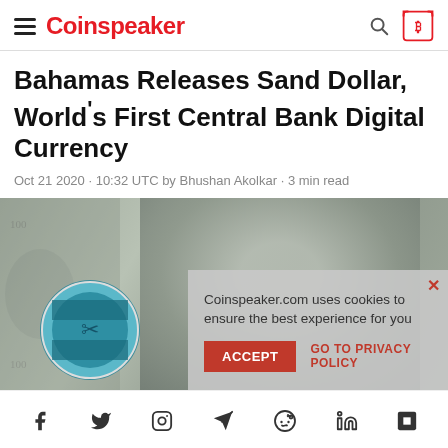Coinspeaker
Bahamas Releases Sand Dollar, World's First Central Bank Digital Currency
Oct 21 2020 · 10:32 UTC by Bhushan Akolkar · 3 min read
[Figure (photo): Hero image showing US dollar bills in grayscale with a Bahamas flag/coin overlay, and a cookie consent dialog overlay with ACCEPT button and GO TO PRIVACY POLICY link]
Social share icons: Facebook, Twitter, Instagram, Telegram, Reddit, LinkedIn, other